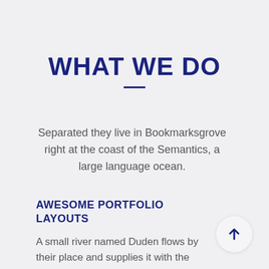WHAT WE DO
Separated they live in Bookmarksgrove right at the coast of the Semantics, a large language ocean.
AWESOME PORTFOLIO LAYOUTS
A small river named Duden flows by their place and supplies it with the necessary regelialia.